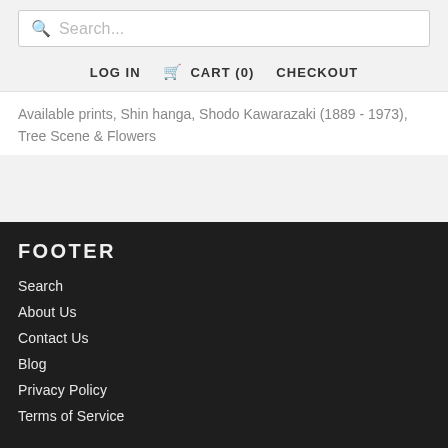Search...
LOG IN  CART (0)  CHECKOUT
Available prints, Shin hanga, Shodo Kawarazaki (1889 - 1973), Tree Scene & Flowers
FOOTER
Search
About Us
Contact Us
Blog
Privacy Policy
Terms of Service